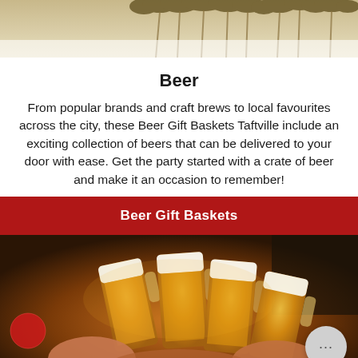[Figure (photo): Top portion of wheat/barley stalks on light background, cropped at the top of the page]
Beer
From popular brands and craft brews to local favourites across the city, these Beer Gift Baskets Taftville include an exciting collection of beers that can be delivered to your door with ease. Get the party started with a crate of beer and make it an occasion to remember!
Beer Gift Baskets
[Figure (photo): People clinking large beer mugs together in a toast, with a warm bokeh background including red Christmas ornaments and a fireplace]